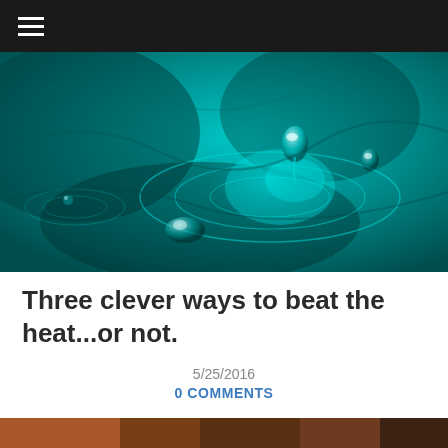≡
[Figure (photo): Close-up macro photograph of water droplets splashing in teal/cyan water, showing a droplet suspended above the surface with concentric ripple rings.]
Three clever ways to beat the heat...or not.
5/25/2016
0 COMMENTS
[Figure (photo): Partial bottom strip image, cropped, showing the beginning of another photo.]